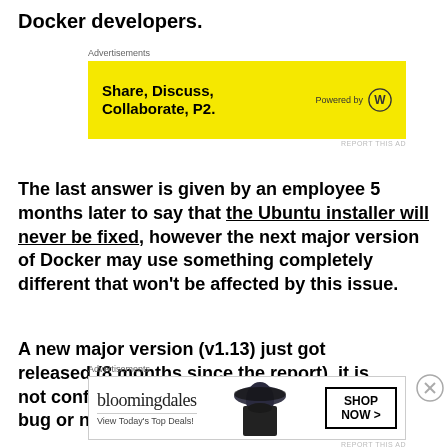Docker developers.
[Figure (other): Yellow advertisement banner: 'Share, Discuss, Collaborate, P2.' powered by WordPress logo]
The last answer is given by an employee 5 months later to say that the Ubuntu installer will never be fixed, however the next major version of Docker may use something completely different that won't be affected by this issue.
A new major version (v1.13) just got released (8 months since the report), it is not confirmed whether it is affected by the bug or not (but it is confirmed to
[Figure (other): Bloomingdale's advertisement banner with model wearing hat, 'View Today's Top Deals!' and 'SHOP NOW >' button]